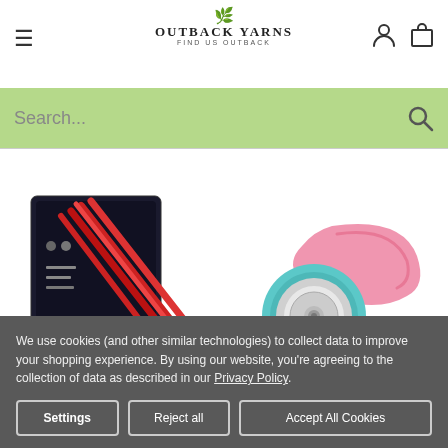Outback Yarns - Find us Outback
[Figure (screenshot): Search bar with light green background and search icon]
[Figure (photo): Two product images: left - Scraper Cutter Set with red handles and metal tips in box packaging; right - pink and teal rotary cutter tool]
We use cookies (and other similar technologies) to collect data to improve your shopping experience. By using our website, you're agreeing to the collection of data as described in our Privacy Policy.
Settings | Reject all | Accept All Cookies